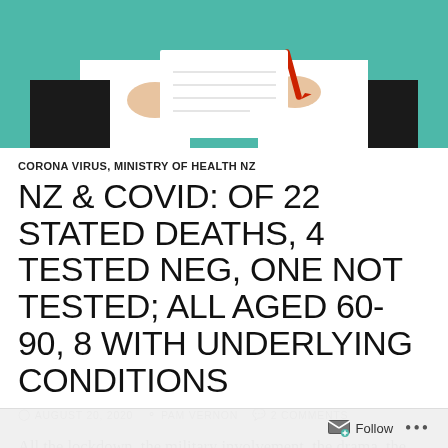[Figure (illustration): Illustration showing two people in suits with one holding a red pen, against a teal background — partial view cropped at top]
CORONA VIRUS, MINISTRY OF HEALTH NZ
NZ & COVID: OF 22 STATED DEATHS, 4 TESTED NEG, ONE NOT TESTED; ALL AGED 60-90, 8 WITH UNDERLYING CONDITIONS
AUGUST 20, 2020   PAM VERNON   2 COMMENTS
All the lockdown, the military involvement, the drama, the suicides, the fear of being pulled from your family & detained in